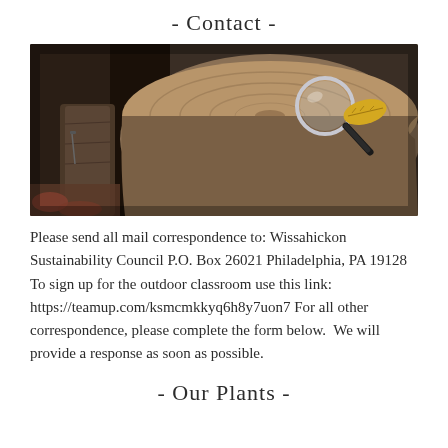- Contact -
[Figure (photo): A photograph of a tree stump with a magnifying glass and a yellow leaf resting on top of it, set outdoors with other tree stumps and debris in the background.]
Please send all mail correspondence to: Wissahickon Sustainability Council P.O. Box 26021 Philadelphia, PA 19128 To sign up for the outdoor classroom use this link: https://teamup.com/ksmcmkkyq6h8y7uon7 For all other correspondence, please complete the form below.  We will provide a response as soon as possible.
- Our Plants -